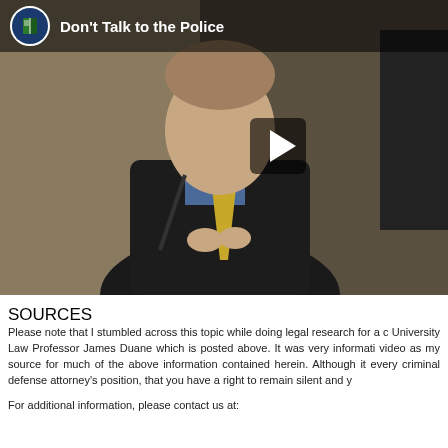[Figure (screenshot): Video thumbnail of a man in a dark suit and yellow tie speaking at a podium, with video title 'Don't Talk to the Police' and a play button overlay. A channel icon with a book logo is visible in the top left.]
SOURCES
Please note that I stumbled across this topic while doing legal research for a c University Law Professor James Duane which is posted above. It was very informati video as my source for much of the above information contained herein. Although it every criminal defense attorney's position, that you have a right to remain silent and y
For additional information, please contact us at: